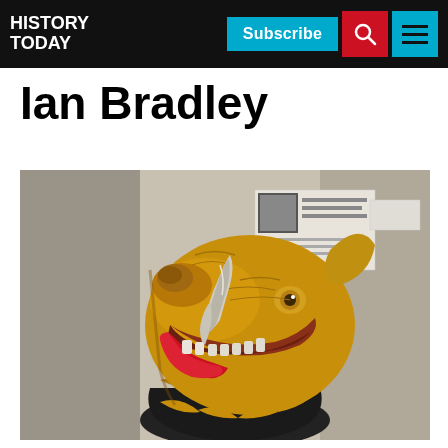HISTORY TODAY | Subscribe
Ian Bradley
[Figure (photo): A gilded boar head sculpture with open mouth showing teeth, red tongue, silver tusks, mounted on a black and gold ringed base, displayed in a museum setting.]